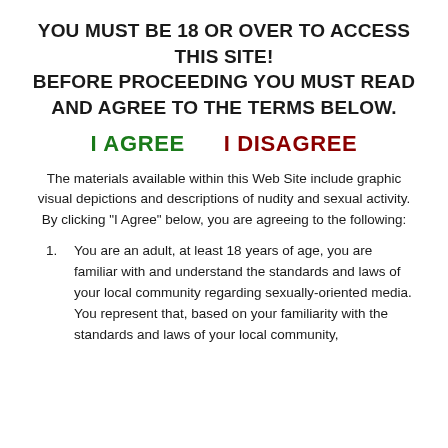YOU MUST BE 18 OR OVER TO ACCESS THIS SITE! BEFORE PROCEEDING YOU MUST READ AND AGREE TO THE TERMS BELOW.
I AGREE    I DISAGREE
The materials available within this Web Site include graphic visual depictions and descriptions of nudity and sexual activity. By clicking "I Agree" below, you are agreeing to the following:
You are an adult, at least 18 years of age, you are familiar with and understand the standards and laws of your local community regarding sexually-oriented media. You represent that, based on your familiarity with the standards and laws of your local community,